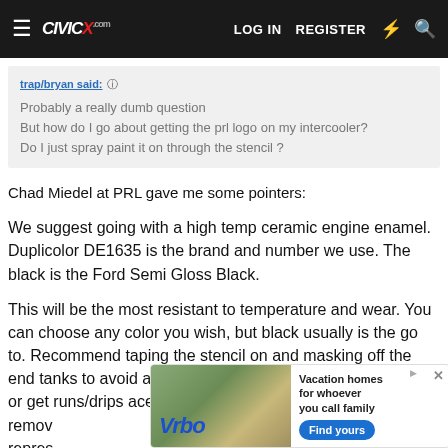CivicX — LOG IN  REGISTER
trap/bryan said: Probably a really dumb question
But how do I go about getting the prl logo on my intercooler?
Do I just spray paint it on through the stencil ?
Chad Miedel at PRL gave me some pointers:
We suggest going with a high temp ceramic engine enamel. Duplicolor DE1635 is the brand and number we use. The black is the Ford Semi Gloss Black.
This will be the most resistant to temperature and wear. You can choose any color you wish, but black usually is the go to. Recommend taping the stencil on and masking off the end tanks to avoid any overspray. If you make any mistakes or get runs/drips acetone or brake cleaner can be used to remove... represents... questions...
[Figure (screenshot): Vrbo advertisement banner: vacation homes for whoever you call family, with Find yours button]